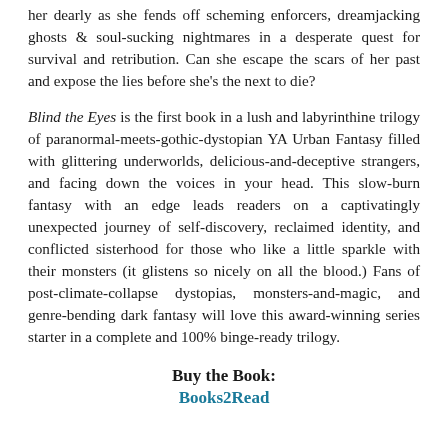her dearly as she fends off scheming enforcers, dreamjacking ghosts & soul-sucking nightmares in a desperate quest for survival and retribution. Can she escape the scars of her past and expose the lies before she's the next to die?
Blind the Eyes is the first book in a lush and labyrinthine trilogy of paranormal-meets-gothic-dystopian YA Urban Fantasy filled with glittering underworlds, delicious-and-deceptive strangers, and facing down the voices in your head. This slow-burn fantasy with an edge leads readers on a captivatingly unexpected journey of self-discovery, reclaimed identity, and conflicted sisterhood for those who like a little sparkle with their monsters (it glistens so nicely on all the blood.) Fans of post-climate-collapse dystopias, monsters-and-magic, and genre-bending dark fantasy will love this award-winning series starter in a complete and 100% binge-ready trilogy.
Buy the Book: Books2Read